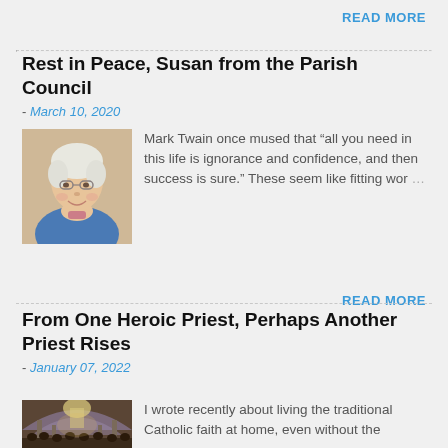READ MORE
Rest in Peace, Susan from the Parish Council
- March 10, 2020
[Figure (photo): Elderly woman with white hair and glasses, smiling, wearing a blue cardigan]
Mark Twain once mused that “all you need in this life is ignorance and confidence, and then success is sure.” These seem like fitting wor…
READ MORE
From One Heroic Priest, Perhaps Another Priest Rises
- January 07, 2022
[Figure (photo): Interior of a grand church with arched ceiling and congregation]
I wrote recently about living the traditional Catholic faith at home, even without the